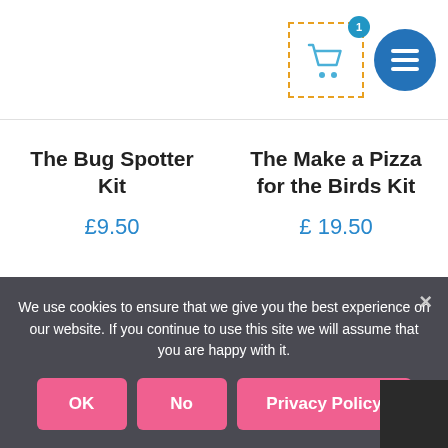[Figure (screenshot): Website header with shopping cart icon (with badge showing 1 item) inside dashed orange border, and circular blue menu button with three white horizontal lines]
The Bug Spotter Kit
£9.50
The Make a Pizza for the Birds Kit
£19.50
We use cookies to ensure that we give you the best experience on our website. If you continue to use this site we will assume that you are happy with it.
OK
No
Privacy Policy